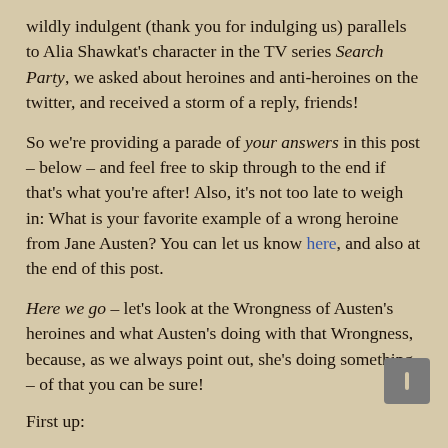wildly indulgent (thank you for indulging us) parallels to Alia Shawkat's character in the TV series Search Party, we asked about heroines and anti-heroines on the twitter, and received a storm of a reply, friends!
So we're providing a parade of your answers in this post – below – and feel free to skip through to the end if that's what you're after!  Also, it's not too late to weigh in: What is your favorite example of a wrong heroine from Jane Austen? You can let us know here, and also at the end of this post.
Here we go – let's look at the Wrongness of Austen's heroines and what Austen's doing with that Wrongness, because, as we always point out, she's doing something – of that you can be sure!
First up: